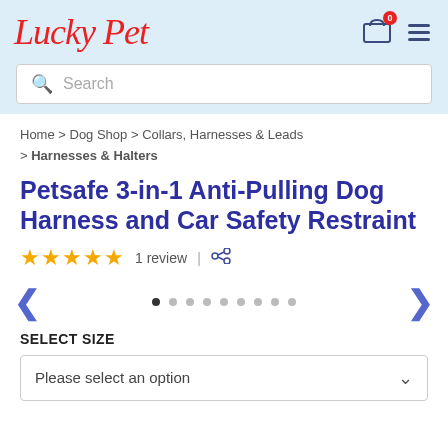Lucky Pet
Search
Home > Dog Shop > Collars, Harnesses & Leads > Harnesses & Halters
Petsafe 3-in-1 Anti-Pulling Dog Harness and Car Safety Restraint
★★★★★ 1 review
[Figure (other): Image carousel navigation with left/right arrows and 9 dot indicators]
SELECT SIZE
Please select an option